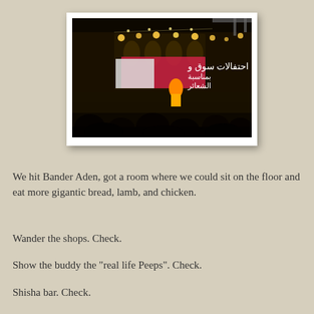[Figure (photo): Night-time outdoor performance or event in what appears to be a Middle Eastern city square or marketplace. Arabic text banner visible on stage backdrop. A performer in colorful costume on stage, audience silhouettes in foreground, ornate building with lights in background.]
We hit Bander Aden, got a room where we could sit on the floor and eat more gigantic bread, lamb, and chicken.
Wander the shops.  Check.
Show the buddy the "real life Peeps".  Check.
Shisha bar.  Check.